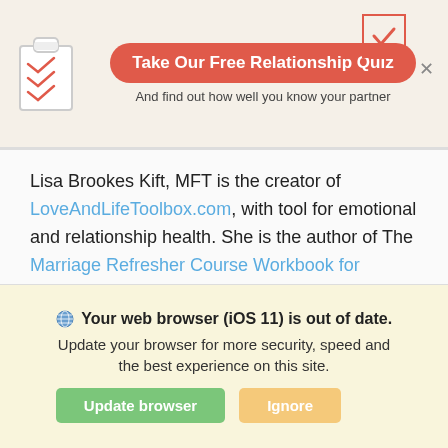[Figure (screenshot): Top banner with clipboard icon, 'Take Our Free Relationship Quiz' button, subtitle text, checkmark box, and close X]
Lisa Brookes Kift, MFT is the creator of LoveAndLifeToolbox.com, with tool for emotional and relationship health. She is the author of The Marriage Refresher Course Workbook for Couples, a DIY tool helping couples bridge disconnection and strengthen the foundation of their relationships. Lisa has a private practice in Marin County, CA.
Your web browser (iOS 11) is out of date. Update your browser for more security, speed and the best experience on this site.